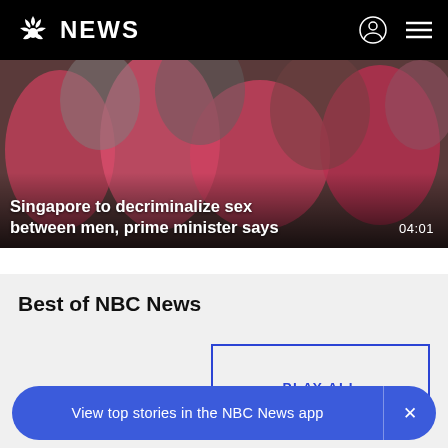NBC NEWS
[Figure (photo): Crowd photo with people in pink/red shirts as background for video thumbnail]
Singapore to decriminalize sex between men, prime minister says
04:01
Best of NBC News
PLAY ALL
View top stories in the NBC News app